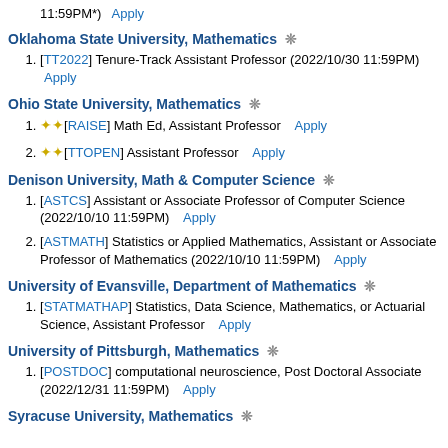11:59PM*)   Apply
Oklahoma State University, Mathematics ❄
[TT2022] Tenure-Track Assistant Professor (2022/10/30 11:59PM) Apply
Ohio State University, Mathematics ❄
★★[RAISE] Math Ed, Assistant Professor   Apply
★★[TTOPEN] Assistant Professor   Apply
Denison University, Math & Computer Science ❄
[ASTCS] Assistant or Associate Professor of Computer Science (2022/10/10 11:59PM)   Apply
[ASTMATH] Statistics or Applied Mathematics, Assistant or Associate Professor of Mathematics (2022/10/10 11:59PM)   Apply
University of Evansville, Department of Mathematics ❄
[STATMATHAP] Statistics, Data Science, Mathematics, or Actuarial Science, Assistant Professor   Apply
University of Pittsburgh, Mathematics ❄
[POSTDOC] computational neuroscience, Post Doctoral Associate (2022/12/31 11:59PM)   Apply
Syracuse University, Mathematics ❄